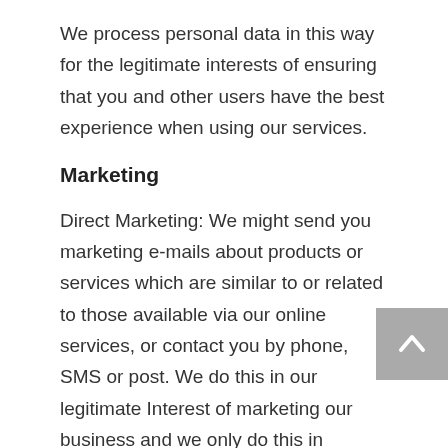We process personal data in this way for the legitimate interests of ensuring that you and other users have the best experience when using our services.
Marketing
Direct Marketing: We might send you marketing e-mails about products or services which are similar to or related to those available via our online services, or contact you by phone, SMS or post. We do this in our legitimate Interest of marketing our business and we only do this in accordance with the laws relating to marketing directly to individuals.